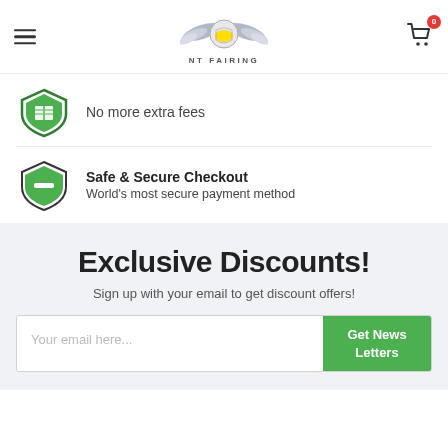[Figure (logo): NT Fairing logo with eagle wings and helmet, text NT FAIRING below]
No more extra fees
Safe & Secure Checkout
World's most secure payment method
Exclusive Discounts!
Sign up with your email to get discount offers!
Your email here...  Get News Letters